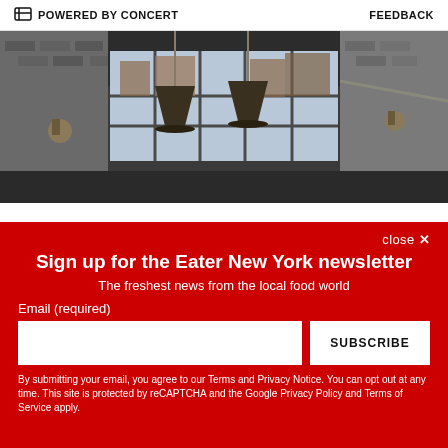POWERED BY CONCERT   FEEDBACK
[Figure (photo): Interior of a restaurant with industrial-style decor: dark metal ceiling, large grid windows showing brick buildings outside, pendant lamps hanging from the ceiling, wall sconces on brick wall.]
close ×
Sign up for the Eater New York newsletter
The freshest news from the local food world
Email (required)
SUBSCRIBE
By submitting your email, you agree to our Terms and Privacy Notice. You can opt out at any time. This site is protected by reCAPTCHA and the Google Privacy Policy and Terms of Service apply.